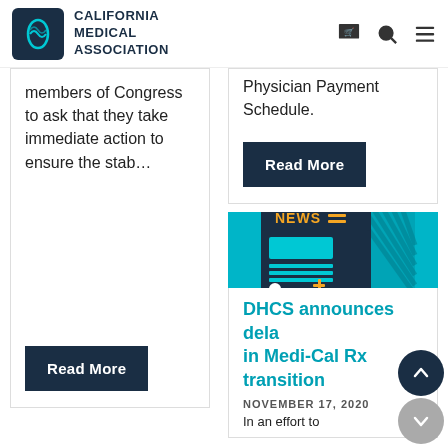California Medical Association
members of Congress to ask that they take immediate action to ensure the stab…
Read More
Physician Payment Schedule.
Read More
[Figure (illustration): Stylized news icon on teal background showing a newspaper/tablet with NEWS header, orange horizontal lines, rectangles, and a plus symbol]
DHCS announces delay in Medi-Cal Rx transition
NOVEMBER 17, 2020
In an effort to